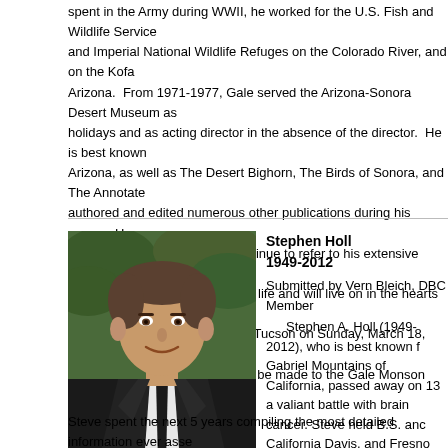spent in the Army during WWII, he worked for the U.S. Fish and Wildlife Service and Imperial National Wildlife Refuges on the Colorado River, and on the Kofa Arizona. From 1971-1977, Gale served the Arizona-Sonora Desert Museum as holidays and as acting director in the absence of the director. He is best known Arizona, as well as The Desert Bighorn, The Birds of Sonora, and The Annotated authored and edited numerous other publications during his career. He was a p Southwestern ornithologists continue to refer to his extensive written records o numerous people throughout his life and will live on in the hearts and memories Memorial Service will be held in Tucson on Sunday, March 18, 2012 please cor Contributions in his memory can be made to the Gale Monson Research Grant at www.azfo.org/grants.html.
[Figure (photo): Portrait photo of Stephen Holl, a middle-aged man smiling, wearing a dark suit and tie, with green foliage in the background.]
Stephen Holl
1949-2012
Submitted by Vern Bleich, DBC Member
    Stephen A. Holl (1949-2012), who is best known f Gabriel Mountains of California, passed away on 13 a valiant battle with brain cancer. Steve held B.S. anc California Davis, and Fresno State University, resped relationships between body condition and productivit western slope of the Sierra Nevada.
    In 1978, Mr. Holl was hired as a wildlife biologist c (SBNF), where his sole duty was to investigate the e Gabriel Mountains, a southern California mountain rar
Steve spent the next 5 years compiling the most detailed information ever asses population dynamics, behavior, and food habits of bighorn sheep in that range.